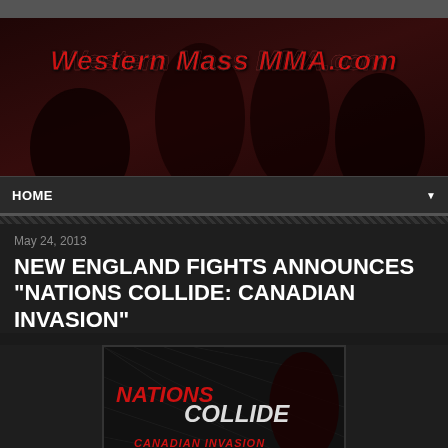[Figure (screenshot): Top gray browser bar]
[Figure (photo): Western Mass MMA banner with fighters and red stylized text logo]
HOME
May 24, 2013
NEW ENGLAND FIGHTS ANNOUNCES "NATIONS COLLIDE: CANADIAN INVASION"
[Figure (photo): Nations Collide: Canadian Invasion event promotional image with fighters and stylized text]